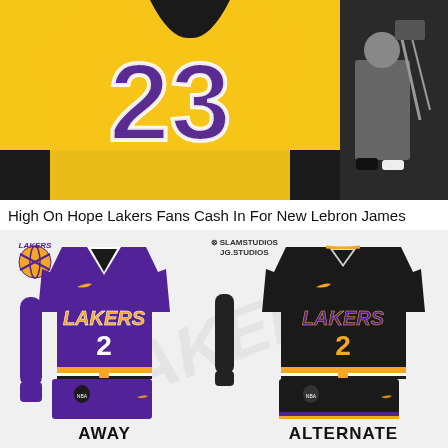[Figure (photo): Photo of LeBron James Lakers number 23 yellow jersey close-up, with a person in background]
High On Hope Lakers Fans Cash In For New Lebron James
[Figure (illustration): Lakers uniform concept art showing two uniforms: purple AWAY uniform with number 2 and black ALTERNATE uniform with number 2, with Lakers logo and SLAM Studios watermark]